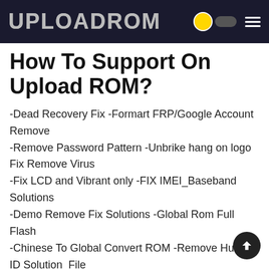UPLOADROM
How To Support On Upload ROM?
-Dead Recovery Fix -Formart FRP/Google Account Remove -Remove Password Pattern -Unbrike hang on logo Fix Remove Virus -Fix LCD and Vibrant only -FIX IMEI_Baseband Solutions -Demo Remove Fix Solutions -Global Rom Full Flash -Chinese To Global Convert ROM -Remove Huawei ID Solution_File -Downgrade Huawei Firmwares -EMMC Dump File Full Backup ROM -EMMC Change Only File And Solutions -Full Backup Scatter Firmware